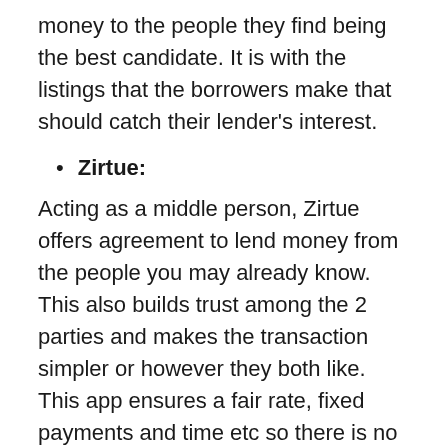money to the people they find being the best candidate. It is with the listings that the borrowers make that should catch their lender's interest.
Zirtue:
Acting as a middle person, Zirtue offers agreement to lend money from the people you may already know. This also builds trust among the 2 parties and makes the transaction simpler or however they both like. This app ensures a fair rate, fixed payments and time etc so there is no room for blunders.
Loan apps vs payday